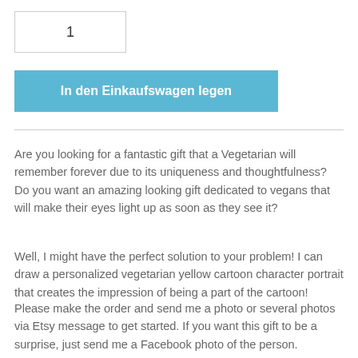1
In den Einkaufswagen legen
Are you looking for a fantastic gift that a Vegetarian will remember forever due to its uniqueness and thoughtfulness? Do you want an amazing looking gift dedicated to vegans that will make their eyes light up as soon as they see it?
Well, I might have the perfect solution to your problem! I can draw a personalized vegetarian yellow cartoon character portrait that creates the impression of being a part of the cartoon!
Please make the order and send me a photo or several photos via Etsy message to get started. If you want this gift to be a surprise, just send me a Facebook photo of the person.
You will receive a digital file with a yellow cartoon style portrait. No physical delivery is offered, but feel free to